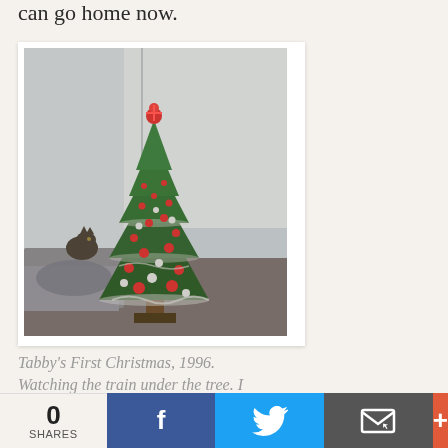can go home now.
[Figure (photo): A decorated Christmas tree with red and silver ornaments, a red topper, standing in a room. A tabby cat is visible on the left side near a sofa/bed. The photo has a vintage, slightly faded quality from 1996.]
Tabby's First Christmas, 1996. Watching the train under the tree. I wish I took